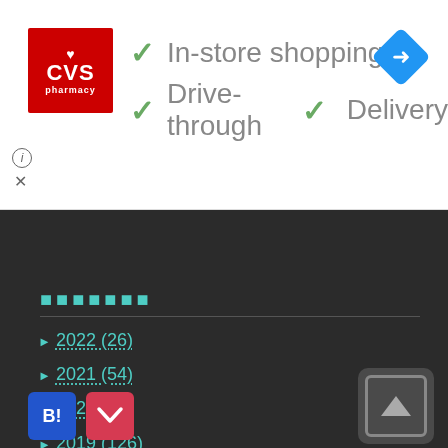[Figure (screenshot): CVS Pharmacy advertisement banner showing logo with checkmarks for In-store shopping, Drive-through, and Delivery services, with a navigation/directions icon top right]
▶ 2022 (26)
▶ 2021 (54)
▶ 2020 (86)
▶ 2019 (126)
▼ 2018 (128)
2018 / 12 (11)
2018 / 11 (12)
2018 / 10 (10)
2018 / 9 (15)